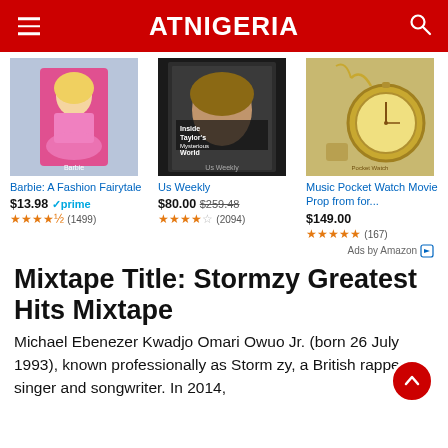ATNIGERIA
[Figure (other): Three Amazon product ad images: Barbie A Fashion Fairytale DVD, Us Weekly magazine (Inside Taylor's Mysterious World), Music Pocket Watch Movie Prop]
Barbie: A Fashion Fairytale
$13.98 prime
★★★★½ (1499)

Us Weekly
$80.00 $259.48
★★★★☆ (2094)

Music Pocket Watch Movie Prop from for...
$149.00
★★★★★ (167)
Ads by Amazon
Mixtape Title: Stormzy Greatest Hits Mixtape
Michael Ebenezer Kwadjo Omari Owuo Jr. (born 26 July 1993), known professionally as Stormzy, a British rapper, singer and songwriter. In 2014,